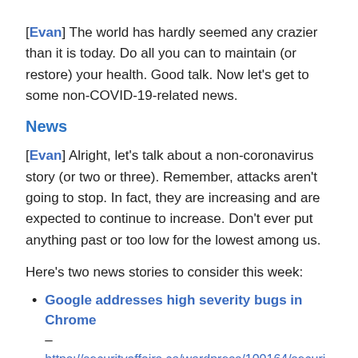[Evan] The world has hardly seemed any crazier than it is today. Do all you can to maintain (or restore) your health. Good talk. Now let's get to some non-COVID-19-related news.
News
[Evan] Alright, let's talk about a non-coronavirus story (or two or three). Remember, attacks aren't going to stop. In fact, they are increasing and are expected to continue to increase. Don't ever put anything past or too low for the lowest among us.
Here's two news stories to consider this week:
Google addresses high severity bugs in Chrome – https://securityaffairs.co/wordpress/100164/securi chrome-bugs.html